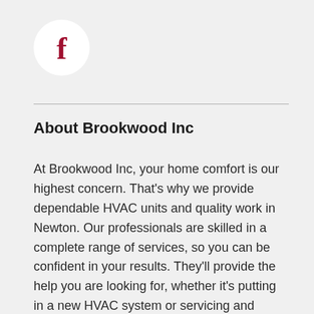[Figure (logo): Facebook logo: white circle with dark red lowercase letter f]
About Brookwood Inc
At Brookwood Inc, your home comfort is our highest concern. That’s why we provide dependable HVAC units and quality work in Newton. Our professionals are skilled in a complete range of services, so you can be confident in your results. They’ll provide the help you are looking for, whether it’s putting in a new HVAC system or servicing and inspecting your existing system. We’re available to help with all of your needs, so get in touch with us at 641-316-